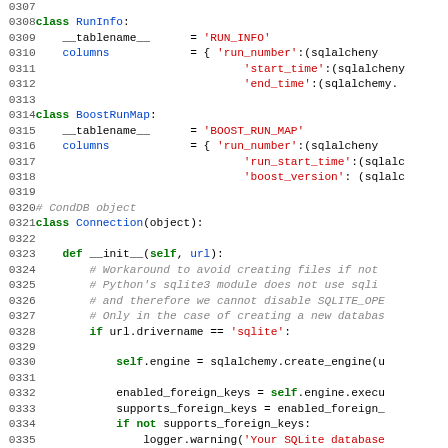Source code listing lines 0307-0336, Python code showing class RunInfo, class BoostRunMap, and class Connection with __init__ method.